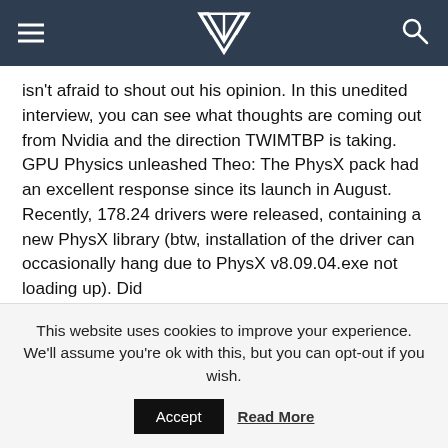VR logo with hamburger menu and search icon
isn't afraid to shout out his opinion. In this unedited interview, you can see what thoughts are coming out from Nvidia and the direction TWIMTBP is taking. GPU Physics unleashed Theo: The PhysX pack had an excellent response since its launch in August. Recently, 178.24 drivers were released, containing a new PhysX library (btw, installation of the driver can occasionally hang due to PhysX v8.09.04.exe not loading up). Did
Read More...
This website uses cookies to improve your experience. We'll assume you're ok with this, but you can opt-out if you wish.
Accept
Read More